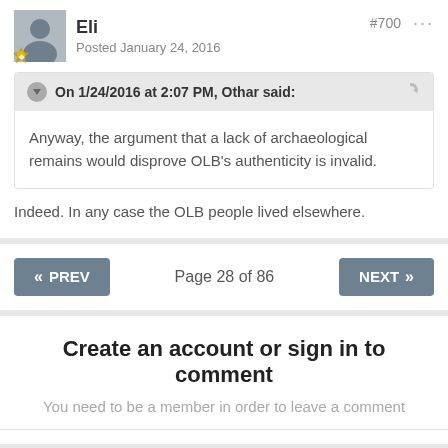Eli
Posted January 24, 2016
#700
On 1/24/2016 at 2:07 PM, Othar said:
Anyway, the argument that a lack of archaeological remains would disprove OLB's authenticity is invalid.
Indeed. In any case the OLB people lived elsewhere.
« PREV    Page 28 of 86    NEXT »
Create an account or sign in to comment
You need to be a member in order to leave a comment